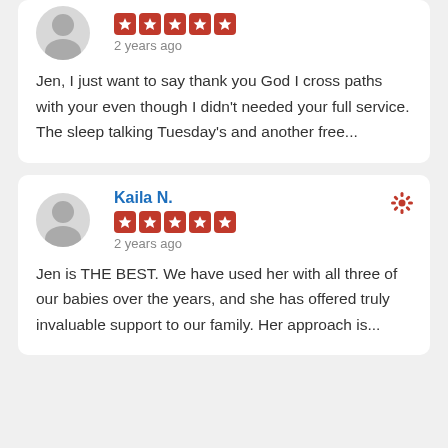[Figure (screenshot): Partial review card (top cut off): avatar placeholder, 5 red star rating boxes, '2 years ago', review text starting with 'Jen, I just want to say thank you God I cross paths with your even though I didn't needed your full service. The sleep talking Tuesday's and another free...']
Jen, I just want to say thank you God I cross paths with your even though I didn't needed your full service. The sleep talking Tuesday's and another free...
Kaila N.
2 years ago
Jen is THE BEST. We have used her with all three of our babies over the years, and she has offered truly invaluable support to our family. Her approach is...